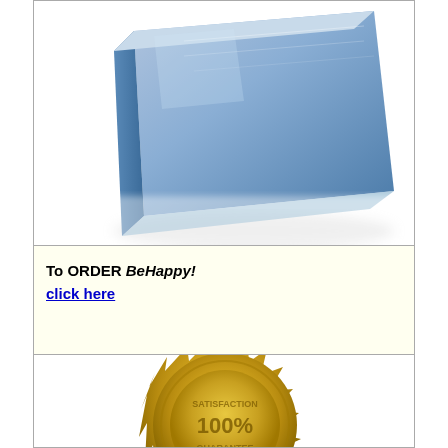[Figure (photo): Photo of a blue book or CD/DVD case at an angle on white background]
To ORDER BeHappy!
click here
[Figure (illustration): Gold embossed award/certification seal]